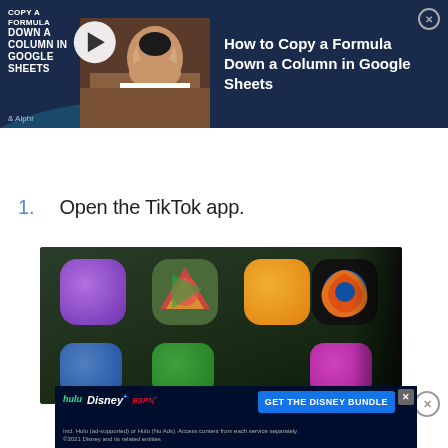[Figure (screenshot): Video thumbnail banner ad for 'How to Copy a Formula Down a Column in Google Sheets' on Alphr, showing dark navy background with white text title, a play button, and a photo of a woman at a laptop. Right side shows the title text and a close (X) button.]
1. Open the TikTok app.
[Figure (screenshot): Screenshot of a smartphone home screen showing blurred app icons: purple app, Google Photos, orange app, Firefox browser in first row; partial icons in second row including blue, green, and pink/magenta apps. Dark greenish background.]
[Figure (screenshot): Bottom banner advertisement for Disney Bundle (Hulu, Disney+, ESPN+) with 'GET THE DISNEY BUNDLE' call-to-action button. Fine print: Incl. Hulu (ad-supported) or Hulu (No Ads). Access content from each service separately. ©2021 Disney and its related entities]